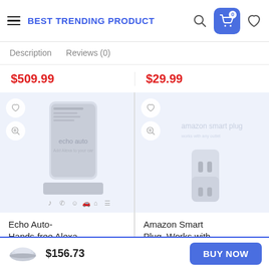BEST TRENDING PRODUCT
Description   Reviews (0)
$509.99
$29.99
[Figure (screenshot): Echo Auto product image showing echo auto device with 'Add Alexa to your car' text, heart/wishlist and zoom icons overlaid]
Echo Auto- Hands-free Alexa in your car with
[Figure (screenshot): Amazon Smart Plug product image with heart/wishlist and zoom icons overlaid]
Amazon Smart Plug, Works with Alexa – A Certifie
[Figure (photo): Smoke detector product image]
$156.73
BUY NOW